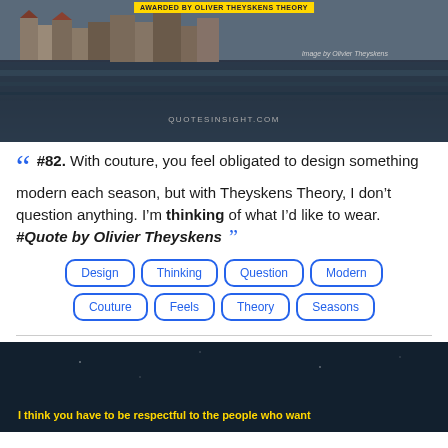[Figure (photo): Dark scenic river town photo with a yellow highlighted text at top and QUOTESINSIGHT.COM watermark]
“ #82. With couture, you feel obligated to design something modern each season, but with Theyskens Theory, I don’t question anything. I’m thinking of what I’d like to wear. #Quote by Olivier Theyskens ”
Design
Thinking
Question
Modern
Couture
Feels
Theory
Seasons
[Figure (photo): Dark night sky or dark background image with yellow italic text starting: I think you have to be respectful to the people who want]